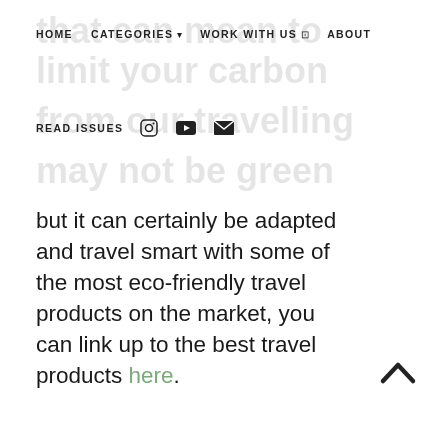HOME   CATEGORIES ▾   WORK WITH US ⇗   ABOUT
READ ISSUES   [instagram] [youtube] [mail]
but it can certainly be adapted and travel smart with some of the most eco-friendly travel products on the market, you can link up to the best travel products here.
Eco friendly museums, pational parks, sports arenas, amusement parks, farmer's markets, resorts, and even shopping